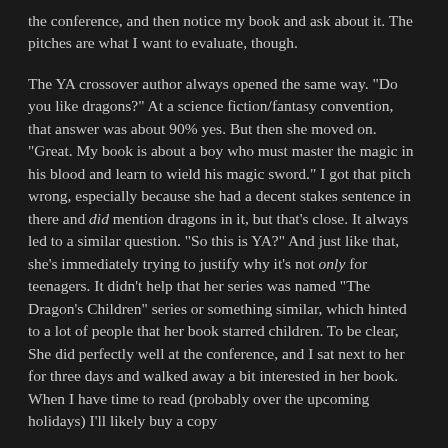the conference, and then notice my book and ask about it. The pitches are what I want to evaluate, though.

The YA crossover author always opened the same way. "Do you like dragons?" At a science fiction/fantasy convention, that answer was about 90% yes. But then she moved on. "Great. My book is about a boy who must master the magic in his blood and learn to wield his magic sword." I got that pitch wrong, especially because she had a decent stakes sentence in there and did mention dragons in it, but that's close. It always led to a similar question. "So this is YA?" And just like that, she's immediately trying to justify why it's not only for teenagers. It didn't help that her series was named "The Dragon's Children" series or something similar, which hinted to a lot of people that her book starred children. To be clear, She did perfectly well at the conference, and I sat next to her for three days and walked away a bit interested in her book. When I have time to read (probably over the upcoming holidays) I'll likely buy a copy